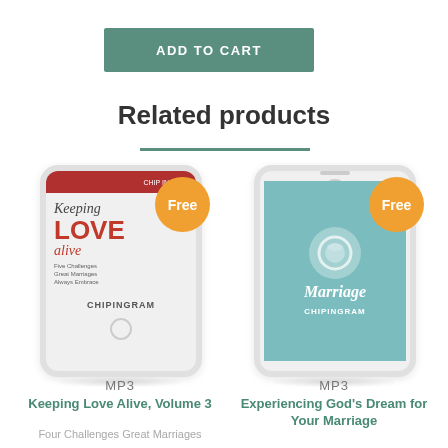[Figure (other): Green 'ADD TO CART' button]
Related products
[Figure (illustration): Smartphone showing 'Keeping LOVE alive' Chip Ingram MP3 product with orange Free badge]
MP3
Keeping Love Alive, Volume 3
Four Challenges Great Marriages
[Figure (illustration): Smartphone showing 'Marriage' Chip Ingram MP3 product with orange Free badge]
MP3
Experiencing God's Dream for Your Marriage